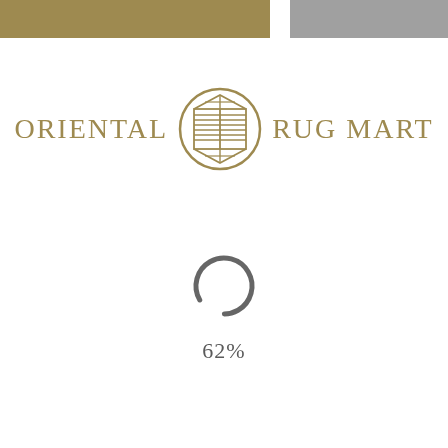[Figure (logo): Two color bars at top: gold/tan bar on left two-thirds, gray bar on right one-third]
[Figure (logo): Oriental Rug Mart logo with decorative circular Asian-style emblem between the words ORIENTAL and RUG MART in gold serif uppercase letters]
[Figure (other): Loading spinner arc (approximately 300 degrees, dark gray) indicating page load progress at 62%]
62%